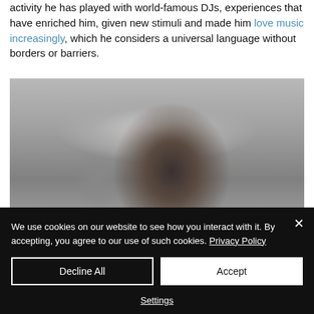activity he has played with world-famous DJs, experiences that have enriched him, given new stimuli and made him love music increasingly, which he considers a universal language without borders or barriers.
[Figure (photo): Blurred black and white or low-saturation photo of a person wearing a cap, viewed from the side/back, with a blurred crowd or background.]
We use cookies on our website to see how you interact with it. By accepting, you agree to our use of such cookies. Privacy Policy
Decline All
Accept
Settings